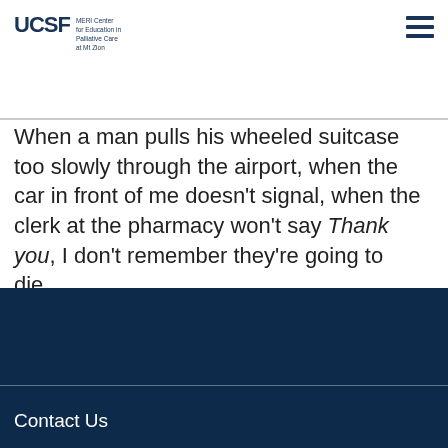UCSF MERI Center for Education in Palliative Care at Mt Zion
When a man pulls his wheeled suitcase too slowly through the airport, when the car in front of me doesn't signal, when the clerk at the pharmacy won't say Thank you, I don't remember they're going to die....
Read more »
Contact Us